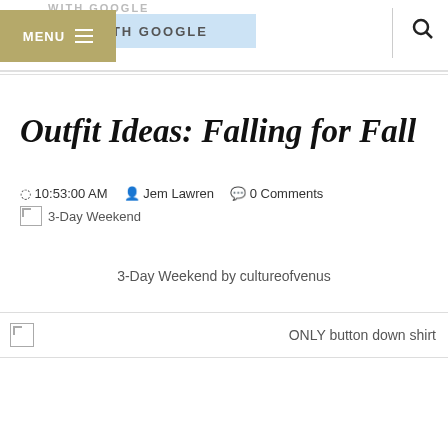MENU | WITH GOOGLE | [search icon]
Outfit Ideas: Falling for Fall
10:53:00 AM   Jem Lawren   0 Comments
[Figure (photo): Broken image placeholder labeled 3-Day Weekend]
3-Day Weekend by cultureofvenus
[Figure (photo): Broken image placeholder with text ONLY button down shirt]